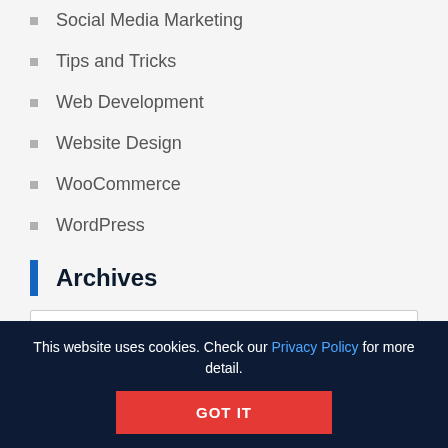Social Media Marketing
Tips and Tricks
Web Development
Website Design
WooCommerce
WordPress
Archives
Select Month
This website uses cookies. Check our Privacy Policy for more detail.
GOT IT